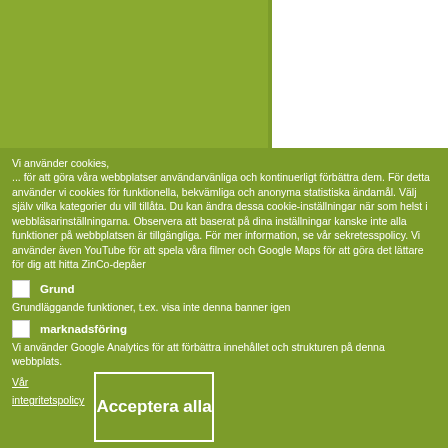[Figure (screenshot): Green block and white block in the upper portion of a cookie consent banner]
Vi använder cookies,
... för att göra våra webbplatser användarvänliga och kontinuerligt förbättra dem. För detta använder vi cookies för funktionella, bekvämliga och anonyma statistiska ändamål. Välj själv vilka kategorier du vill tillåta. Du kan ändra dessa cookie-inställningar när som helst i webbläsarinställningarna. Observera att baserat på dina inställningar kanske inte alla funktioner på webbplatsen är tillgängliga. För mer information, se vår sekretesspolicy. Vi använder även YouTube för att spela våra filmer och Google Maps för att göra det lättare för dig att hitta ZinCo-depåer
Grund
Grundläggande funktioner, t.ex. visa inte denna banner igen
marknadsföring
Vi använder Google Analytics för att förbättra innehållet och strukturen på denna webbplats.
Vår integritetspolicy
Acceptera alla
Bekräfta valet